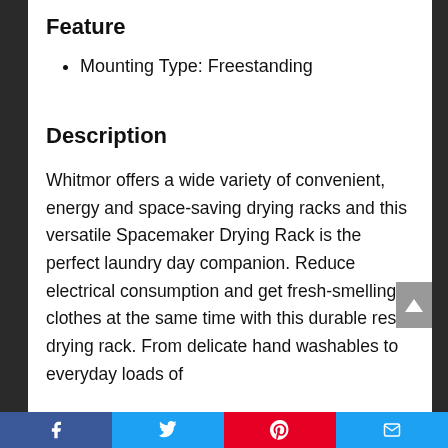Feature
Mounting Type: Freestanding
Description
Whitmor offers a wide variety of convenient, energy and space-saving drying racks and this versatile Spacemaker Drying Rack is the perfect laundry day companion. Reduce electrical consumption and get fresh-smelling clothes at the same time with this durable resin drying rack. From delicate hand washables to everyday loads of